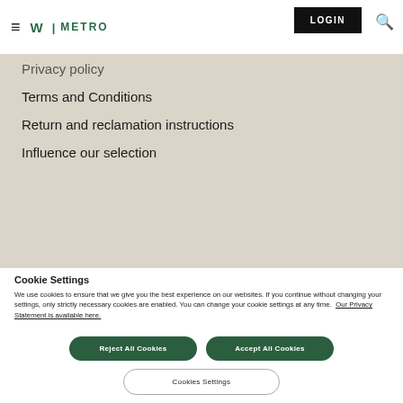W | METRO  LOGIN
Privacy policy
Terms and Conditions
Return and reclamation instructions
Influence our selection
Cookie Settings
We use cookies to ensure that we give you the best experience on our websites. If you continue without changing your settings, only strictly necessary cookies are enabled. You can change your cookie settings at any time.  Our Privacy Statement is available here.
Reject All Cookies
Accept All Cookies
Cookies Settings